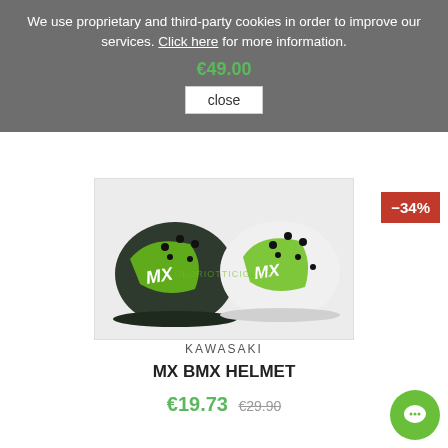We use proprietary and third-party cookies in order to improve our services. Click here for more information.
€49.00
close
-34%
[Figure (photo): Two BMX helmets side by side — one dark green/black with lime green stripes and MX logo, one white with lime green stripes and MX logo. Watermark reads GLORIOTTICIGLI.IT]
KAWASAKI
MX BMX HELMET
€19.73  €29.90